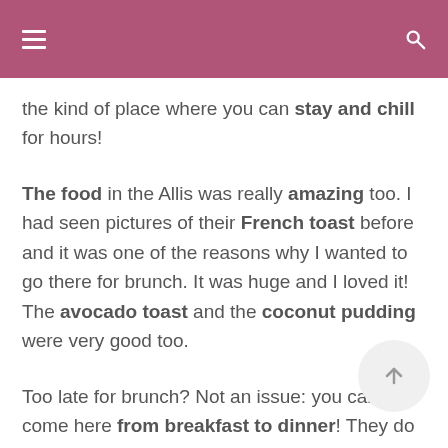the kind of place where you can stay and chill for hours!
The food in the Allis was really amazing too. I had seen pictures of their French toast before and it was one of the reasons why I wanted to go there for brunch. It was huge and I loved it! The avocado toast and the coconut pudding were very good too.
Too late for brunch? Not an issue: you can come here from breakfast to dinner! They do afternoon tea and cocktails too.